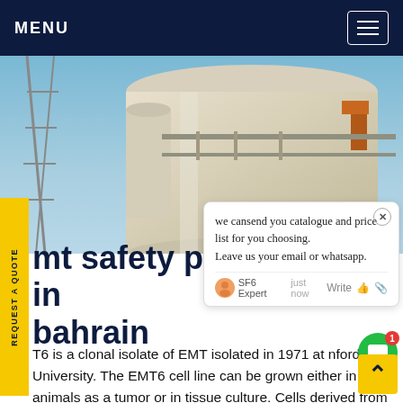MENU
[Figure (photo): Industrial equipment photo showing large cylindrical SF6 gas insulated switchgear or transformer structure against a blue sky, viewed from below, with metal framework visible]
REQUEST A QUOTE
we cansend you catalogue and price list for you choosing. Leave us your email or whatsapp. SF6 Expert just now Write
mt safety precautions in bahrain
T6 is a clonal isolate of EMT isolated in 1971 at nford University. The EMT6 cell line can be grown either in animals as a tumor or in tissue culture. Cells derived from tumors have a reported in vitro plating efficiency of 30%. Cell grown in tissue culture reportedly have a plating efficiency of 70% Get price